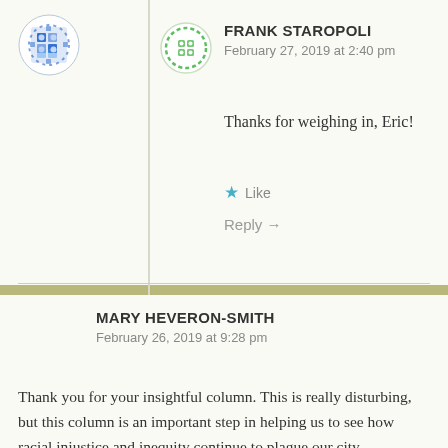FRANK STAROPOLI
February 27, 2019 at 2:40 pm
Thanks for weighing in, Eric!
Like
Reply →
MARY HEVERON-SMITH
February 26, 2019 at 9:28 pm
Thank you for your insightful column. This is really disturbing, but this column is an important step in helping us to see how racial injustice and inequity continue to plague our city.